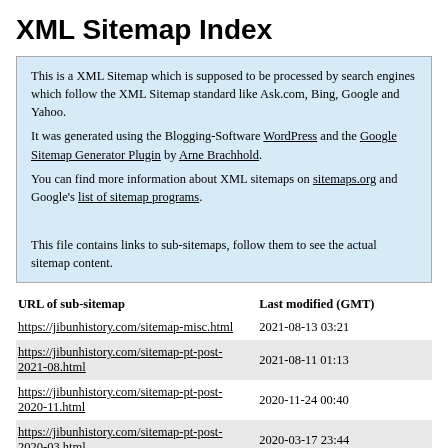XML Sitemap Index
This is a XML Sitemap which is supposed to be processed by search engines which follow the XML Sitemap standard like Ask.com, Bing, Google and Yahoo.
It was generated using the Blogging-Software WordPress and the Google Sitemap Generator Plugin by Arne Brachhold.
You can find more information about XML sitemaps on sitemaps.org and Google's list of sitemap programs.

This file contains links to sub-sitemaps, follow them to see the actual sitemap content.
| URL of sub-sitemap | Last modified (GMT) |
| --- | --- |
| https://jibunhistory.com/sitemap-misc.html | 2021-08-13 03:21 |
| https://jibunhistory.com/sitemap-pt-post-2021-08.html | 2021-08-11 01:13 |
| https://jibunhistory.com/sitemap-pt-post-2020-11.html | 2020-11-24 00:40 |
| https://jibunhistory.com/sitemap-pt-post-2020-03.html | 2020-03-17 23:44 |
| https://jibunhistory.com/sitemap-pt-post-2019-09.html | 2019-09-29 14:11 |
| https://jibunhistory.com/sitemap-pt-post-2019-05.html | 2019-05-30 12:06 |